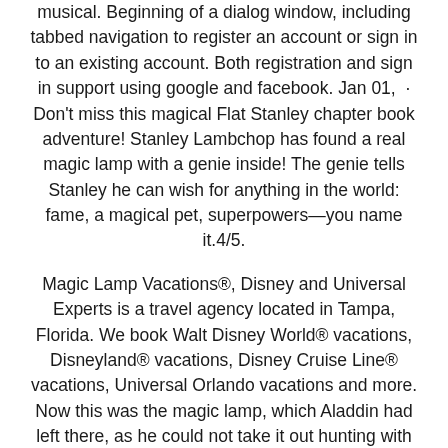musical. Beginning of a dialog window, including tabbed navigation to register an account or sign in to an existing account. Both registration and sign in support using google and facebook. Jan 01,  · Don't miss this magical Flat Stanley chapter book adventure! Stanley Lambchop has found a real magic lamp with a genie inside! The genie tells Stanley he can wish for anything in the world: fame, a magical pet, superpowers—you name it.4/5.
Magic Lamp Vacations®, Disney and Universal Experts is a travel agency located in Tampa, Florida. We book Walt Disney World® vacations, Disneyland® vacations, Disney Cruise Line® vacations, Universal Orlando vacations and more. Now this was the magic lamp, which Aladdin had left there, as he could not take it out hunting with him. The Princess, not knowing its value, laughingly bade the slave take it and make the exchange. She went